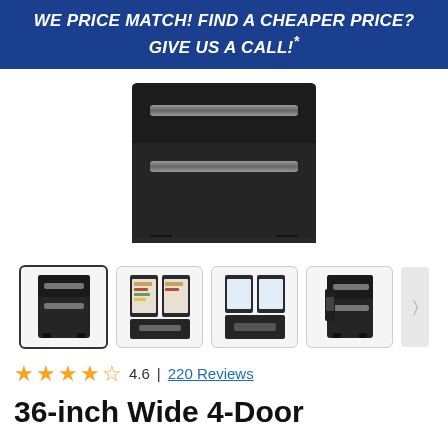WE PRICE MATCH! FIND A CHEAPER PRICE? GIVE US A CALL!*
[Figure (photo): Dark black stainless steel 4-door refrigerator, front view showing two drawer sections with bar handles]
[Figure (photo): Four thumbnail images of the refrigerator: front closed view (selected), open doors with food inside, open freezer drawer, and side/angled view]
4.6 | 220 Reviews
36-inch Wide 4-Door